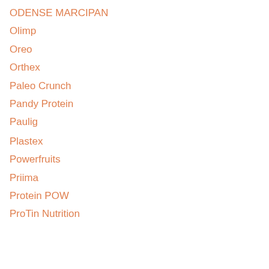ODENSE MARCIPAN
Olimp
Oreo
Orthex
Paleo Crunch
Pandy Protein
Paulig
Plastex
Powerfruits
Priima
Protein POW
ProTin Nutrition